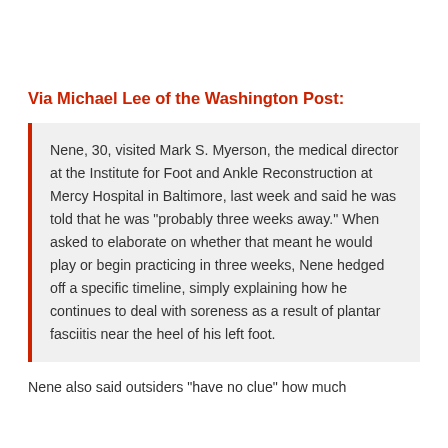Via Michael Lee of the Washington Post:
Nene, 30, visited Mark S. Myerson, the medical director at the Institute for Foot and Ankle Reconstruction at Mercy Hospital in Baltimore, last week and said he was told that he was "probably three weeks away." When asked to elaborate on whether that meant he would play or begin practicing in three weeks, Nene hedged off a specific timeline, simply explaining how he continues to deal with soreness as a result of plantar fasciitis near the heel of his left foot.
Nene also said outsiders "have no clue" how much